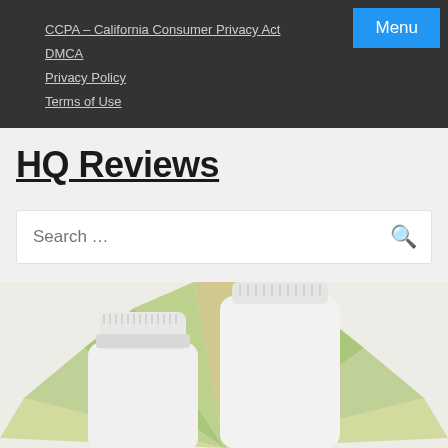CCPA – California Consumer Privacy Act
DMCA
Privacy Policy
Terms of Use
HQ Reviews
Search …
[Figure (photo): Supplement/pill bottles with caps shown against a golden-green starburst background]